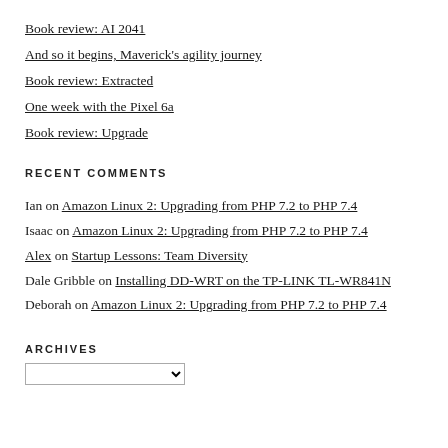Book review: AI 2041
And so it begins, Maverick's agility journey
Book review: Extracted
One week with the Pixel 6a
Book review: Upgrade
RECENT COMMENTS
Ian on Amazon Linux 2: Upgrading from PHP 7.2 to PHP 7.4
Isaac on Amazon Linux 2: Upgrading from PHP 7.2 to PHP 7.4
Alex on Startup Lessons: Team Diversity
Dale Gribble on Installing DD-WRT on the TP-LINK TL-WR841N
Deborah on Amazon Linux 2: Upgrading from PHP 7.2 to PHP 7.4
ARCHIVES